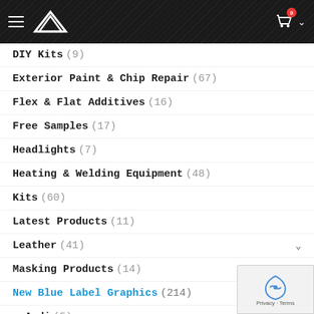Navigation header with logo and cart icon showing 0 items
DIY Kits (9)
Exterior Paint & Chip Repair (67)
Flex & Flat Additives (16)
Free Samples (17)
Headlights (7)
Heating & Welding Equipment (48)
Kits (60)
Latest Products (11)
Leather (41)
Masking Products (14)
New Blue Label Graphics (214)
Audi (5)
BMW (36)
Buick (4)